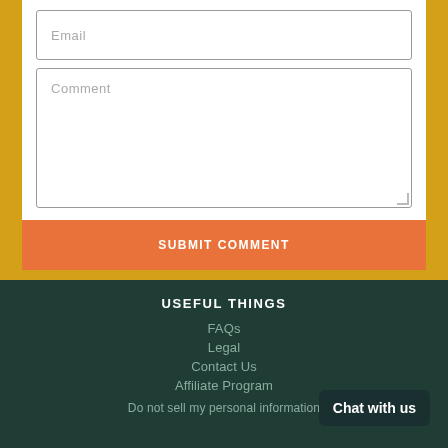Email
Comment
SUBMIT COMMENT
USEFUL THINGS
FAQs
Legal
Contact Us
Affiliate Program
Do not sell my personal information
Chat with us